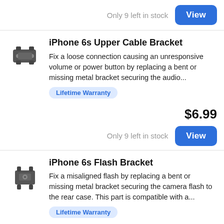Only 9 left in stock
View
iPhone 6s Upper Cable Bracket
Fix a loose connection causing an unresponsive volume or power button by replacing a bent or missing metal bracket securing the audio...
Lifetime Warranty
$6.99
Only 9 left in stock
View
iPhone 6s Flash Bracket
Fix a misaligned flash by replacing a bent or missing metal bracket securing the camera flash to the rear case. This part is compatible with a...
Lifetime Warranty